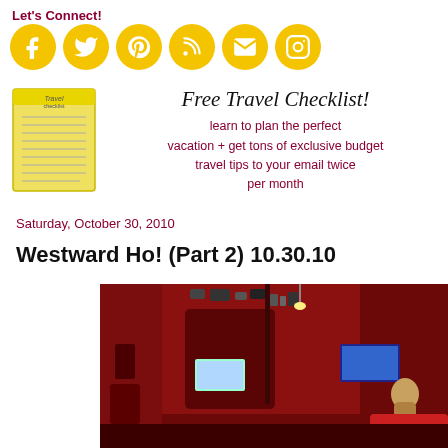Let's Connect!
[Figure (infographic): Six yellow circular social media icons: Facebook, Twitter, Pinterest, RSS, Email, Instagram]
[Figure (infographic): Yellow travel checklist notepad image on left. Text on right: 'Free Travel Checklist!' in italic script font, followed by 'learn to plan the perfect vacation + get tons of exclusive budget travel tips to your email twice per month' in dark red/maroon color.]
Saturday, October 30, 2010
Westward Ho! (Part 2) 10.30.10
[Figure (photo): Interior photo of a richly decorated red room with various gadgets, screens, shelving units, and a person sitting at a computer workstation on the right side.]